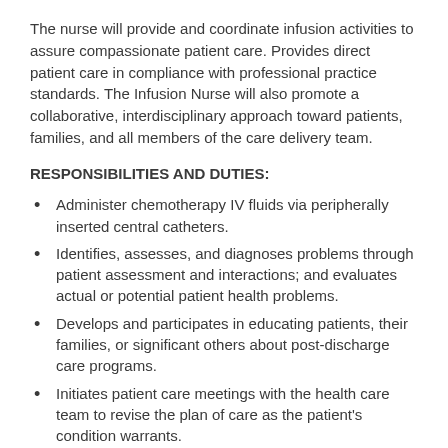The nurse will provide and coordinate infusion activities to assure compassionate patient care. Provides direct patient care in compliance with professional practice standards. The Infusion Nurse will also promote a collaborative, interdisciplinary approach toward patients, families, and all members of the care delivery team.
RESPONSIBILITIES AND DUTIES:
Administer chemotherapy IV fluids via peripherally inserted central catheters.
Identifies, assesses, and diagnoses problems through patient assessment and interactions; and evaluates actual or potential patient health problems.
Develops and participates in educating patients, their families, or significant others about post-discharge care programs.
Initiates patient care meetings with the health care team to revise the plan of care as the patient's condition warrants.
Maintains a safe and therapeutic patient care